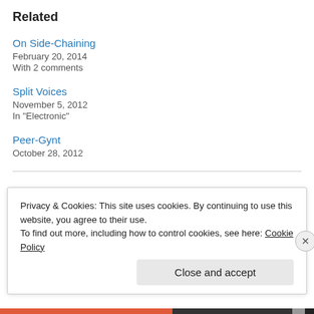Related
On Side-Chaining
February 20, 2014
With 2 comments
Split Voices
November 5, 2012
In "Electronic"
Peer-Gynt
October 28, 2012
February 24, 2013
1 Reply
Privacy & Cookies: This site uses cookies. By continuing to use this website, you agree to their use.
To find out more, including how to control cookies, see here: Cookie Policy
Close and accept